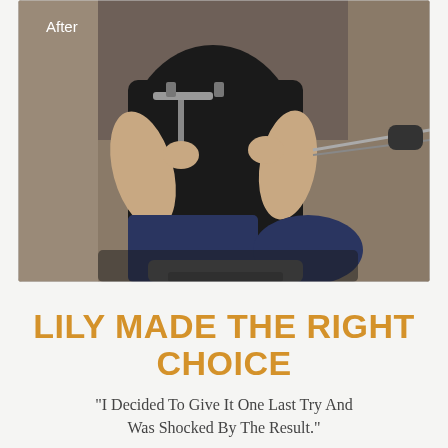[Figure (photo): A person wearing a black top and navy blue leggings sitting on an exercise machine, gripping cable machine handles and performing a rowing or pulling exercise. The background shows a gym with carpet flooring. A white 'After' label appears in the top-left corner of the image.]
LILY MADE THE RIGHT CHOICE
"I Decided To Give It One Last Try And Was Shocked By The Result."